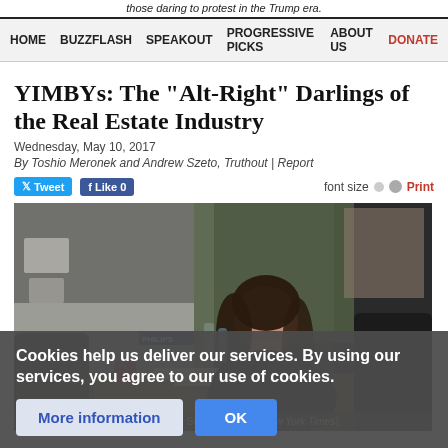those daring to protest in the Trump era.
HOME  BUZZFLASH  SPEAKOUT  PROGRESSIVE PICKS  ABOUT US  DONATE
YIMBYs: The "Alt-Right" Darlings of the Real Estate Industry
Wednesday, May 10, 2017
By Toshio Meronek and Andrew Szeto, Truthout | Report
[Figure (photo): Woman with long dark hair sitting at a desk in an office, looking thoughtful. Office clutter visible in background including a Philips sign.]
Sonja Trauss, found... at her office in San Franci... the New York Times).
Cookies help us deliver our services. By using our services, you agree to our use of cookies.